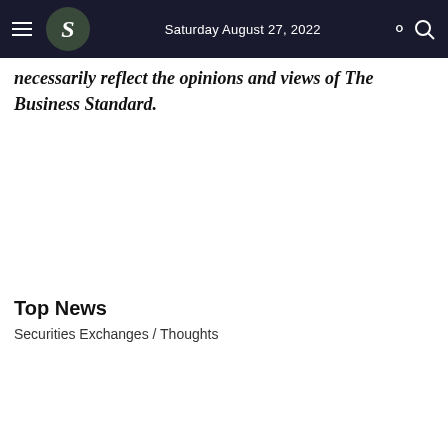Saturday August 27, 2022
necessarily reflect the opinions and views of The Business Standard.
Top News
Securities Exchanges / Thoughts
[Figure (other): Advertisement banner with dark teal background showing 'CLICK HERE TO FOLLOW US ON' text on the left and 'facebook' logo in blue on the right with a hand pointer cursor icon]